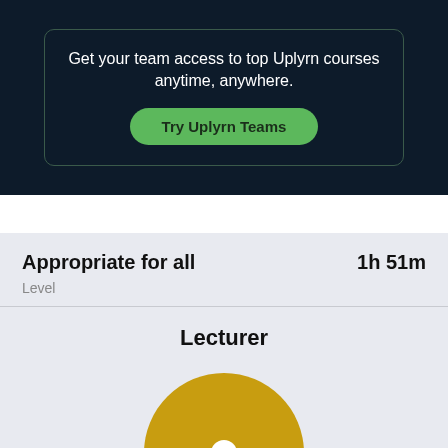Get your team access to top Uplyrn courses anytime, anywhere.
Try Uplyrn Teams
Appropriate for all
1h 51m
Level
Lecturer
[Figure (illustration): Golden/yellow circular avatar icon with a small white circle in the center, representing a lecturer profile photo placeholder]